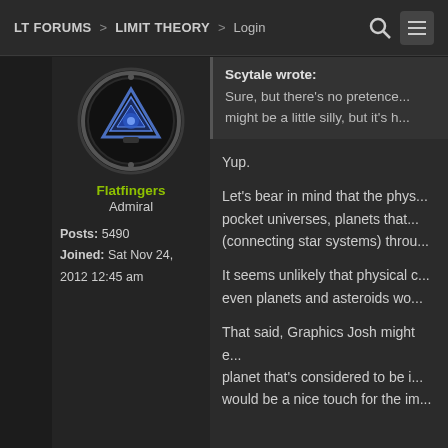LT FORUMS > LIMIT THEORY > Login
[Figure (illustration): User avatar: circular dark badge with blue triangular emblem in center]
Flatfingers
Admiral
Posts: 5490
Joined: Sat Nov 24, 2012 12:45 am
Scytale wrote:
Sure, but there's no pretence... might be a little silly, but it's h...
Yup.
Let's bear in mind that the phys... pocket universes, planets that... (connecting star systems) throu...
It seems unlikely that physical c... even planets and asteroids wo...
That said, Graphics Josh might e... planet that's considered to be i... would be a nice touch for the im...